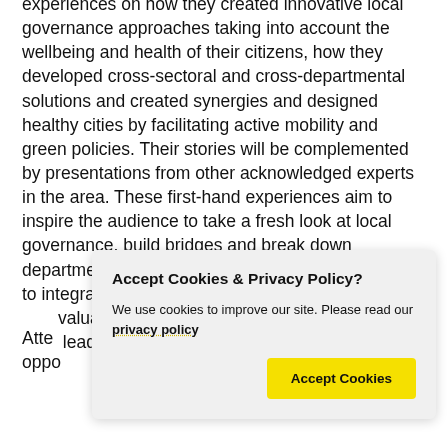experiences on how they created innovative local governance approaches taking into account the wellbeing and health of their citizens, how they developed cross-sectoral and cross-departmental solutions and created synergies and designed healthy cities by facilitating active mobility and green policies. Their stories will be complemented by presentations from other acknowledged experts in the area. These first-hand experiences aim to inspire the audience to take a fresh look at local governance, build bridges and break down departmental silos to create innovative approaches to integrated urban development, and provide them with valuable insights, lessons learned and inspire local leaders.
Attendance is free of charge. To register for this opportunity and for more information, please...
Accept Cookies & Privacy Policy?
We use cookies to improve our site. Please read our privacy policy
[Accept Cookies button]